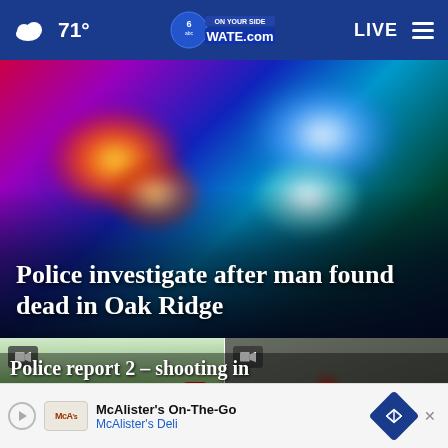71° WATE.com LIVE
[Figure (photo): Police lights (red and blue flashing lights blurred) with article headline overlay: 'Police investigate after man found dead in Oak Ridge']
Police investigate after man found dead in Oak Ridge
[Figure (photo): Fire truck at a scene with trees in the background]
[Figure (photo): House with emergency lights outside, foggy/smoky atmosphere]
Police report 2 – shooting in
[Figure (infographic): Advertisement banner: McAlister's On-The-Go, McAlister's Deli]